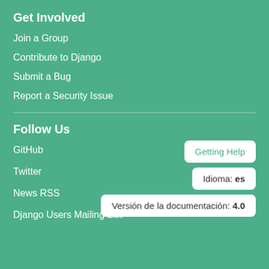Get Involved
Join a Group
Contribute to Django
Submit a Bug
Report a Security Issue
Follow Us
GitHub
Twitter
News RSS
Django Users Mailing List
Getting Help
Idioma: es
Versión de la documentación: 4.0